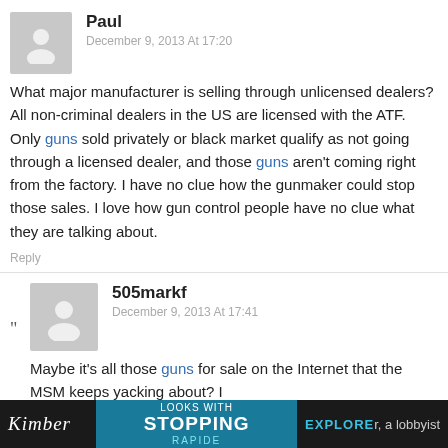Paul
December 9, 2013 At 17:20
What major manufacturer is selling through unlicensed dealers? All non-criminal dealers in the US are licensed with the ATF. Only guns sold privately or black market qualify as not going through a licensed dealer, and those guns aren't coming right from the factory. I have no clue how the gunmaker could stop those sales. I love how gun control people have no clue what they are talking about.
Reply
505markf
December 9, 2013 At 17:41
Maybe it's all those guns for sale on the Internet that the MSM keeps yacking about? I
[Figure (other): Advertisement banner at bottom: Kimber brand logo on dark background, center section with blue background showing 'LOOKS WITH STOPPING' text and 'EXPLORE RAPIDE' text, partial text reading 'r, a lobbyist']